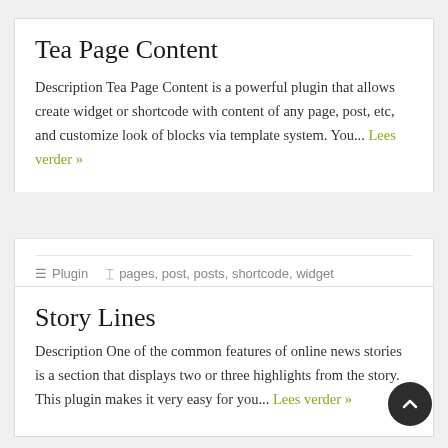Tea Page Content
Description Tea Page Content is a powerful plugin that allows create widget or shortcode with content of any page, post, etc, and customize look of blocks via template system. You... Lees verder »
Plugin   pages, post, posts, shortcode, widget
Story Lines
Description One of the common features of online news stories is a section that displays two or three highlights from the story. This plugin makes it very easy for you... Lees verder »